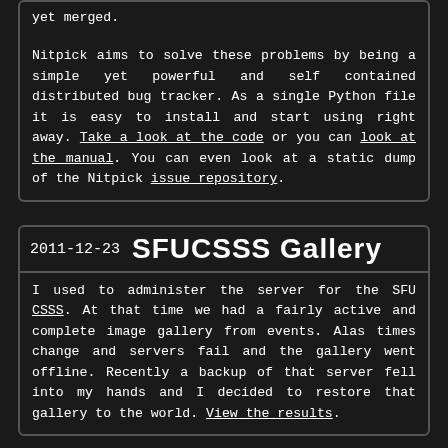yet merged.

Nitpick aims to solve these problems by being a simple yet powerful and self contained distributed bug tracker. As a single Python file it is easy to install and start using right away. Take a look at the code or you can look at the manual. You can even look at a static dump of the Nitpick issue repository.
2011-12-23    SFUCSSS Gallery
I used to administer the server for the SFU CSSS. At that time we had a fairly active and complete image gallery from events. Alas times change and servers fail and the gallery went offline. Recently a backup of that server fell into my hands and I decided to restore that gallery to the world. View the results.